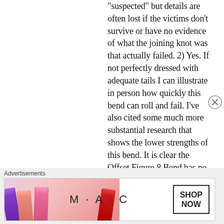“suspected” but details are often lost if the victims don’t survive or have no evidence of what the joining knot was that actually failed. 2) Yes. If not perfectly dressed with adequate tails I can illustrate in person how quickly this bend can roll and fail. I’ve also cited some much more substantial research that shows the lower strengths of this bend. It is clear the Offset Figure 8 Bend has no
[Figure (photo): M·A·C cosmetics advertisement banner showing colorful lipsticks (purple, peach, pink, red) with M·A·C logo and SHOP NOW button]